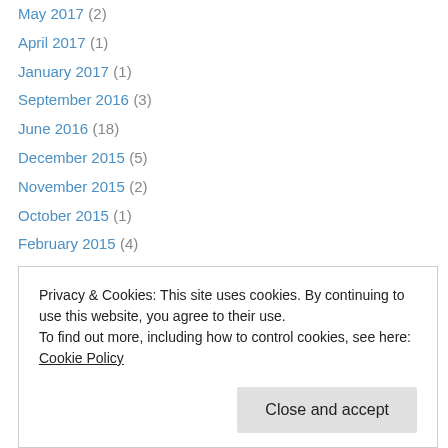May 2017 (2)
April 2017 (1)
January 2017 (1)
September 2016 (3)
June 2016 (18)
December 2015 (5)
November 2015 (2)
October 2015 (1)
February 2015 (4)
January 2015 (13)
December 2014 (4)
November 2014 (6)
October 2014 (6)
September 2014 (12)
March 2014 (17)
Privacy & Cookies: This site uses cookies. By continuing to use this website, you agree to their use. To find out more, including how to control cookies, see here: Cookie Policy
Close and accept